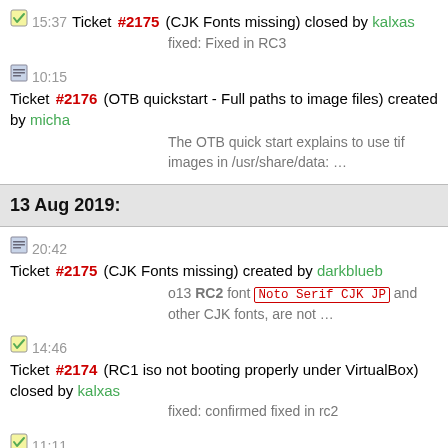15:37 Ticket #2175 (CJK Fonts missing) closed by kalxas
fixed: Fixed in RC3
10:15 Ticket #2176 (OTB quickstart - Full paths to image files) created by micha
The OTB quick start explains to use tif images in /usr/share/data: …
13 Aug 2019:
20:42 Ticket #2175 (CJK Fonts missing) created by darkblueb
o13 RC2 font Noto Serif CJK JP and other CJK fonts, are not …
14:46 Ticket #2174 (RC1 iso not booting properly under VirtualBox) closed by kalxas
fixed: confirmed fixed in rc2
11:11 Ticket #2163 (openlayers_quickstart fails) closed by kalxas